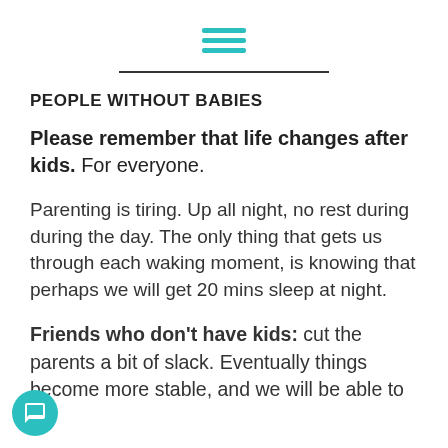[Figure (illustration): Hamburger menu icon with three teal horizontal lines]
PEOPLE WITHOUT BABIES
Please remember that life changes after kids. For everyone.
Parenting is tiring. Up all night, no rest during during the day. The only thing that gets us through each waking moment, is knowing that perhaps we will get 20 mins sleep at night.
Friends who don't have kids: cut the parents a bit of slack. Eventually things become more stable, and we will be able to